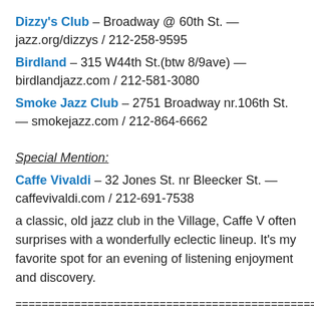Dizzy's Club – Broadway @ 60th St. — jazz.org/dizzys / 212-258-9595
Birdland – 315 W44th St.(btw 8/9ave) — birdlandjazz.com / 212-581-3080
Smoke Jazz Club – 2751 Broadway nr.106th St. — smokejazz.com / 212-864-6662
Special Mention:
Caffe Vivaldi – 32 Jones St. nr Bleecker St. — caffevivaldi.com / 212-691-7538
a classic, old jazz club in the Village, Caffe V often surprises with a wonderfully eclectic lineup. It's my favorite spot for an evening of listening enjoyment and discovery.
==================================================
==========================================
◆ Before making final plans, we suggest you call the